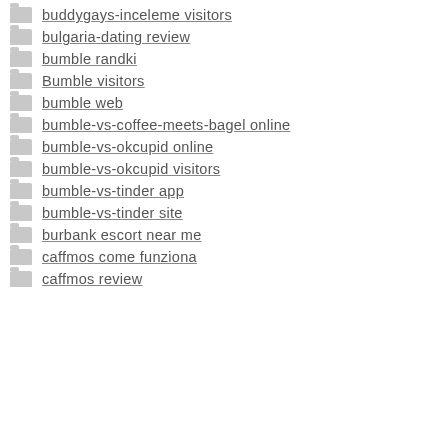buddygays-inceleme visitors
bulgaria-dating review
bumble randki
Bumble visitors
bumble web
bumble-vs-coffee-meets-bagel online
bumble-vs-okcupid online
bumble-vs-okcupid visitors
bumble-vs-tinder app
bumble-vs-tinder site
burbank escort near me
caffmos come funziona
caffmos review